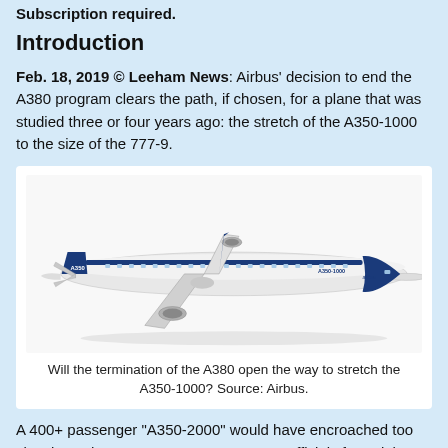Subscription required.
Introduction
Feb. 18, 2019 © Leeham News: Airbus’ decision to end the A380 program clears the path, if chosen, for a plane that was studied three or four years ago: the stretch of the A350-1000 to the size of the 777-9.
[Figure (photo): Side profile of an Airbus A350-1000 aircraft in Airbus house livery (white and blue), with A350-1000 branding on the tail and fuselage.]
Will the termination of the A380 open the way to stretch the A350-1000? Source: Airbus.
A 400+ passenger “A350-2000” would have encroached too closely on the A380’s 500+ passengers. Officials feared the A350-2000 would hurt the sales prospects of the A380.